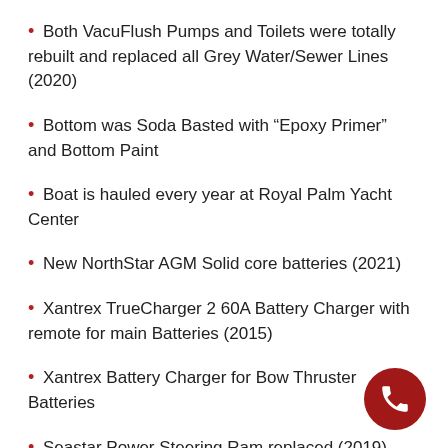Both VacuFlush Pumps and Toilets were totally rebuilt and replaced all Grey Water/Sewer Lines (2020)
Bottom was Soda Basted with “Epoxy Primer” and Bottom Paint
Boat is hauled every year at Royal Palm Yacht Center
New NorthStar AGM Solid core batteries (2021)
Xantrex TrueCharger 2 60A Battery Charger with remote for main Batteries (2015)
Xantrex Battery Charger for Bow Thruster Batteries
Seastar Power Steering Ram replaced (2019)
Spare Props